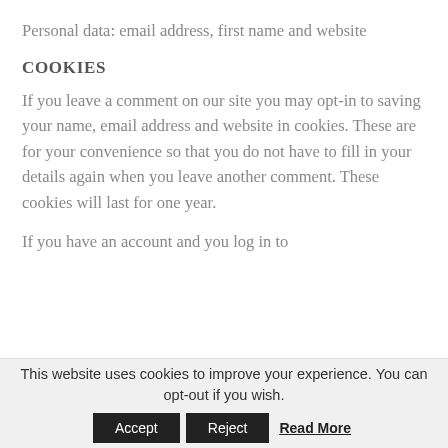Personal data: email address, first name and website
COOKIES
If you leave a comment on our site you may opt-in to saving your name, email address and website in cookies. These are for your convenience so that you do not have to fill in your details again when you leave another comment. These cookies will last for one year.
If you have an account and you log in to
This website uses cookies to improve your experience. You can opt-out if you wish.